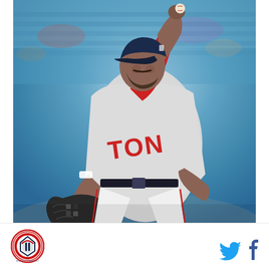[Figure (photo): Boston Red Sox pitcher in gray away uniform with red 'TON' lettering, dark navy cap, black glove, mid-pitching motion follow-through, blue stadium seats blurred in background]
[Figure (logo): Red circular logo with baseball diamond/home plate icon and letters, appears to be a Red Sox fan site logo]
[Figure (other): Twitter bird icon (blue) and Facebook f icon (dark blue) social media share buttons]